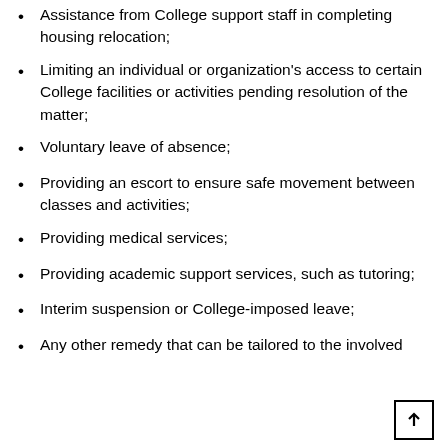Assistance from College support staff in completing housing relocation;
Limiting an individual or organization's access to certain College facilities or activities pending resolution of the matter;
Voluntary leave of absence;
Providing an escort to ensure safe movement between classes and activities;
Providing medical services;
Providing academic support services, such as tutoring;
Interim suspension or College-imposed leave;
Any other remedy that can be tailored to the involved